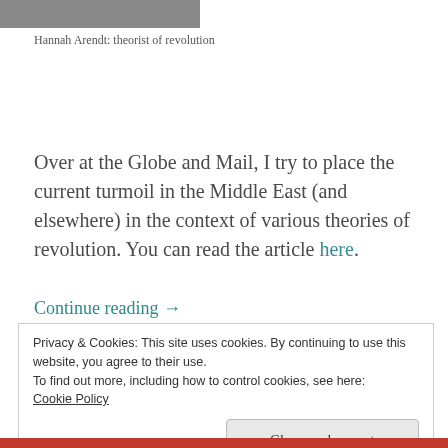[Figure (photo): Partial photo strip at the top of the page, partially cropped]
Hannah Arendt: theorist of revolution
Over at the Globe and Mail, I try to place the current turmoil in the Middle East (and elsewhere) in the context of various theories of revolution. You can read the article here.
Continue reading →
Privacy & Cookies: This site uses cookies. By continuing to use this website, you agree to their use.
To find out more, including how to control cookies, see here:
Cookie Policy
Close and accept